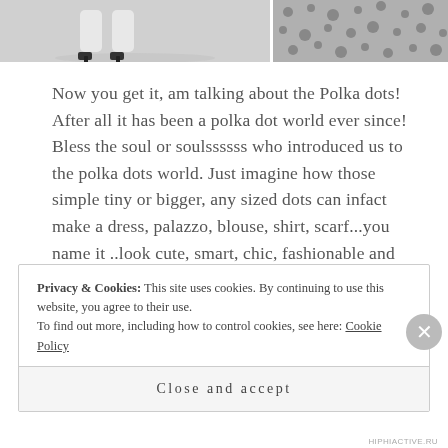[Figure (photo): Two black-and-white photos side by side at the top: left shows legs in high heels on a white background, right shows a polka dot fabric/dress.]
Now you get it, am talking about the Polka dots! After all it has been a polka dot world ever since! Bless the soul or soulssssss who introduced us to the polka dots world. Just imagine how those simple tiny or bigger, any sized dots can infact make a dress, palazzo, blouse, shirt, scarf...you name it ..look cute, smart, chic, fashionable and classy! Be it a summer dress, an evening wear or a formal outfit, polka dots ruled!
Privacy & Cookies: This site uses cookies. By continuing to use this website, you agree to their use.
To find out more, including how to control cookies, see here: Cookie Policy
Close and accept